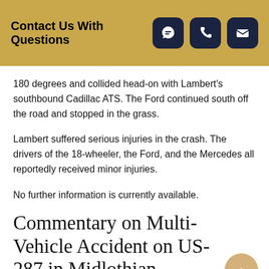Contact Us With Questions
180 degrees and collided head-on with Lambert's southbound Cadillac ATS. The Ford continued south off the road and stopped in the grass.
Lambert suffered serious injuries in the crash. The drivers of the 18-wheeler, the Ford, and the Mercedes all reportedly received minor injuries.
No further information is currently available.
Commentary on Multi-Vehicle Accident on US-287 in Midlothian